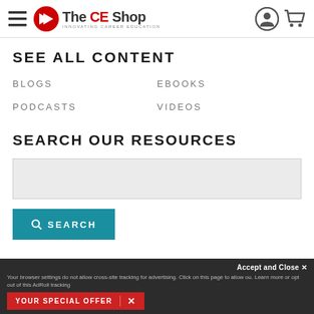[Figure (logo): The CE Shop logo with hamburger menu, account icon, and cart icon in site header]
SEE ALL CONTENT
BLOGS
EBOOKS
PODCASTS
VIDEOS
SEARCH OUR RESOURCES
SEARCH (search input box and button)
Accept and Close ✕
Your browser settings do not allow cross-site tracking for advertising. Click on this page to allow ou. Learn more or opt out of this AdRoll tracking
YOUR SPECIAL OFFER ✕